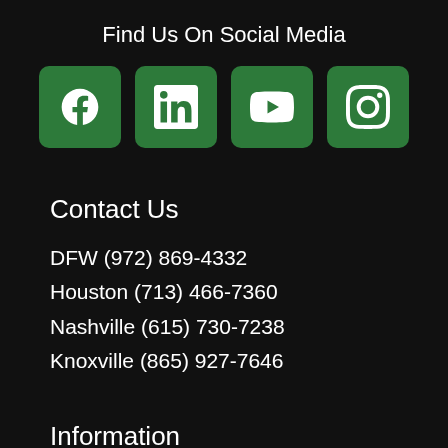Find Us On Social Media
[Figure (infographic): Four green rounded square social media icons: Facebook, LinkedIn, YouTube, Instagram]
Contact Us
DFW (972) 869-4332
Houston (713) 466-7360
Nashville (615) 730-7238
Knoxville (865) 927-7646
Information
About Us